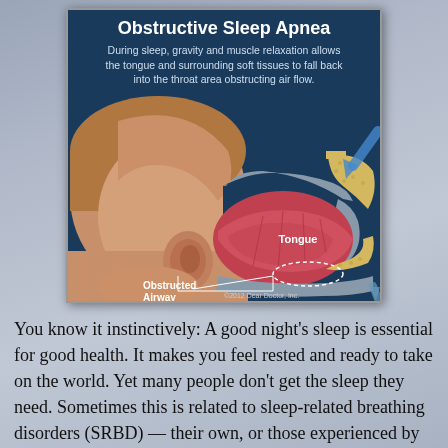[Figure (illustration): Medical infographic titled 'Obstructive Sleep Apnea' showing a cross-sectional anatomical illustration of a person lying down with the tongue falling back and obstructing the airway. Labels indicate 'Tongue' and 'Obstructed Airway'. Blue arrows show blocked airflow. Copyright 2012 Dear Doctor, Inc.]
You know it instinctively: A good night's sleep is essential for good health. It makes you feel rested and ready to take on the world. Yet many people don't get the sleep they need. Sometimes this is related to sleep-related breathing disorders (SRBD) — their own, or those experienced by others around them.